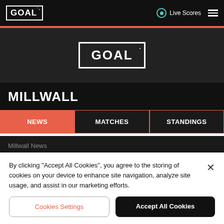GOAL | Live Scores
[Figure (logo): Goal.com logo centered in dark hero section]
MILLWALL
NEWS
MATCHES
STANDINGS
Millwall News
By clicking "Accept All Cookies", you agree to the storing of cookies on your device to enhance site navigation, analyze site usage, and assist in our marketing efforts.
Cookies Settings
Accept All Cookies